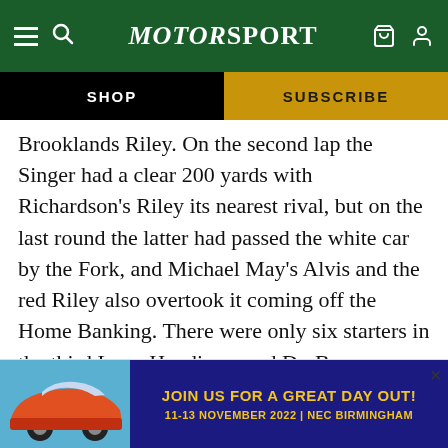MotorSport
SHOP
SUBSCRIBE
Brooklands Riley. On the second lap the Singer had a clear 200 yards with Richardson's Riley its nearest rival, but on the last round the latter had passed the white car by the Fork, and Michael May's Alvis and the red Riley also overtook it coming off the Home Banking. There were only six starters in the third Long Handicap, and Dr. Beaver on his Vauxhall who received 1 min. 5 sec. at once established a lead over Briault (Alta S.) the other limit man, and was 300 yards ahead after a complete lap. Dobbs on the white Riley was second, but was close r, with
[Figure (infographic): Advertisement banner: JOIN US FOR A GREAT DAY OUT! 11-13 NOVEMBER 2022 | NEC BIRMINGHAM, with a blue Porsche car image on the left]